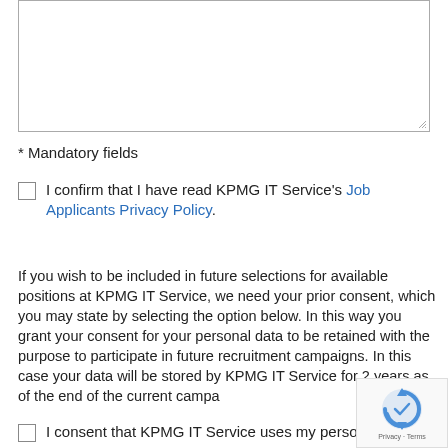[Figure (other): Empty textarea input field with resize handle in bottom-right corner]
* Mandatory fields
I confirm that I have read KPMG IT Service's Job Applicants Privacy Policy.
If you wish to be included in future selections for available positions at KPMG IT Service, we need your prior consent, which you may state by selecting the option below. In this way you grant your consent for your personal data to be retained with the purpose to participate in future recruitment campaigns. In this case your data will be stored by KPMG IT Service for 2 years as of the end of the current campa...
I consent that KPMG IT Service uses my perso...